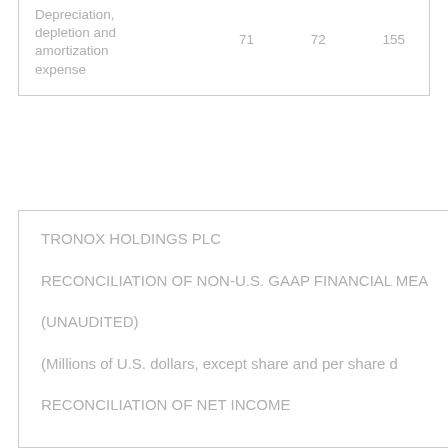| Depreciation, depletion and amortization expense | 71 | 72 | 155 |
TRONOX HOLDINGS PLC
RECONCILIATION OF NON-U.S. GAAP FINANCIAL MEA...
(UNAUDITED)
(Millions of U.S. dollars, except share and per share d...
RECONCILIATION OF NET INCOME